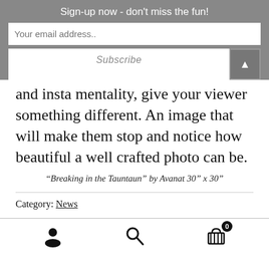Sign-up now - don't miss the fun!
Your email address..
Subscribe
and insta mentality, give your viewer something different. An image that will make them stop and notice how beautiful a well crafted photo can be.
“Breaking in the Tauntaun” by Avanat 30” x 30”
Category: News